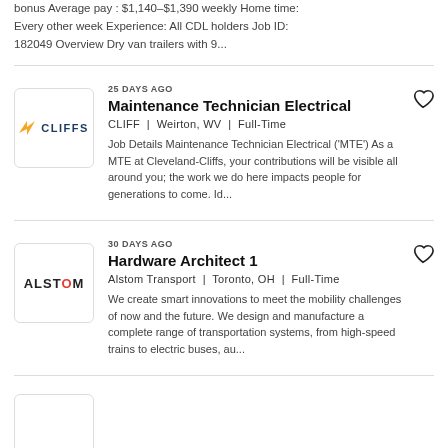bonus Average pay : $1,140–$1,390 weekly Home time: Every other week Experience: All CDL holders Job ID: 182049 Overview Dry van trailers with 9...
25 DAYS AGO
Maintenance Technician Electrical
CLIFF | Weirton, WV | Full-Time
Job Details Maintenance Technician Electrical ('MTE') As a MTE at Cleveland-Cliffs, your contributions will be visible all around you; the work we do here impacts people for generations to come. Id...
30 DAYS AGO
Hardware Architect 1
Alstom Transport | Toronto, OH | Full-Time
We create smart innovations to meet the mobility challenges of now and the future. We design and manufacture a complete range of transportation systems, from high-speed trains to electric buses, au...